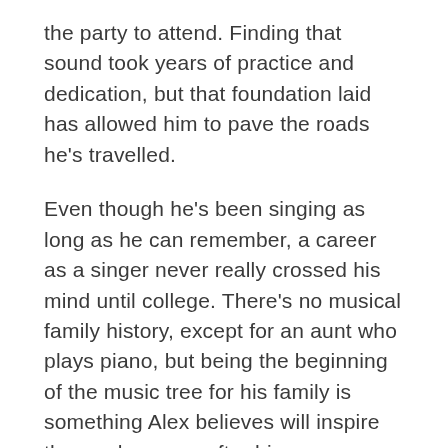the party to attend. Finding that sound took years of practice and dedication, but that foundation laid has allowed him to pave the roads he's travelled.
Even though he's been singing as long as he can remember, a career as a singer never really crossed his mind until college. There's no musical family history, except for an aunt who plays piano, but being the beginning of the music tree for his family is something Alex believes will inspire those who come after him.
Alex's purpose in music is to give others an escape from the world for a few hours. His live shows include songs about life, love, beer and heartbreak